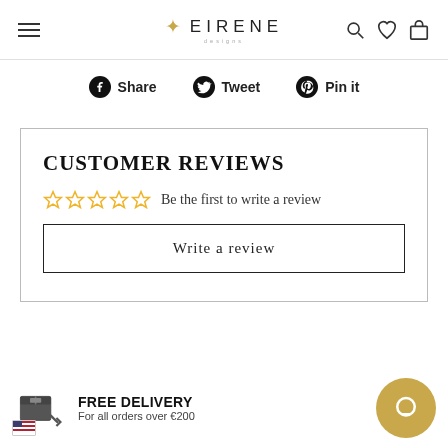EIRENE (designs)
Share  Tweet  Pin it
CUSTOMER REVIEWS
Be the first to write a review
Write a review
FREE DELIVERY
For all orders over €200